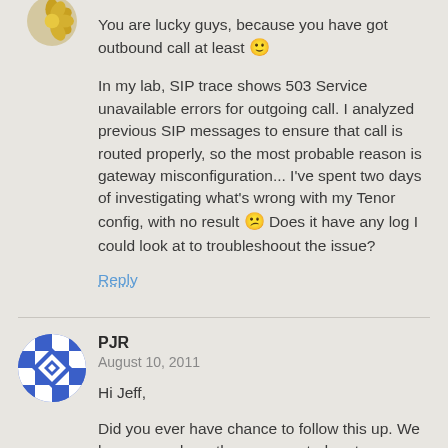You are lucky guys, because you have got outbound call at least 🙂
In my lab, SIP trace shows 503 Service unavailable errors for outgoing call. I analyzed previous SIP messages to ensure that call is routed properly, so the most probable reason is gateway misconfiguration... I've spent two days of investigating what's wrong with my Tenor config, with no result 🙁 Does it have any log I could look at to troubleshoout the issue?
Reply
PJR
August 10, 2011
Hi Jeff,
Did you ever have chance to follow this up. We have gone down the unsupported route